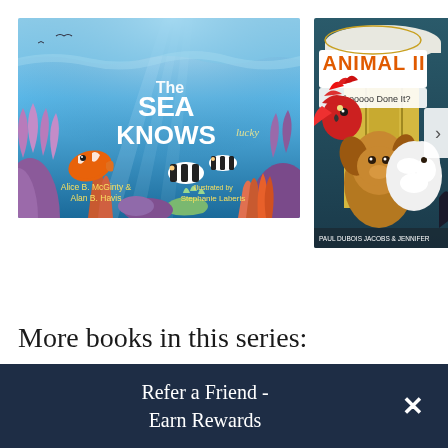[Figure (illustration): Book cover: 'The Sea Knows' by Alice B. McGinty & Alan B. Havis, illustrated by Stephanie Laberis. Underwater ocean scene with clownfish, black and white striped fish, sea anemones, coral, and text in white and yellow.]
[Figure (illustration): Book cover: 'Animal II - Whooooo Done It?' by Paul Dubois Jacobs & Jennifer (surname cut off). Shows a parrot, dog, white fluffy animal, with a navigation arrow overlay.]
More books in this series:
Refer a Friend - Earn Rewards